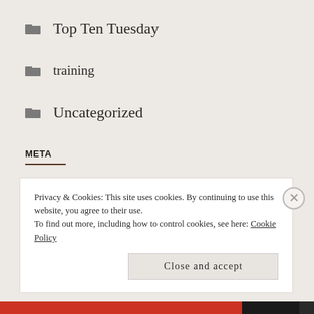Top Ten Tuesday
training
Uncategorized
META
Privacy & Cookies: This site uses cookies. By continuing to use this website, you agree to their use. To find out more, including how to control cookies, see here: Cookie Policy
Close and accept